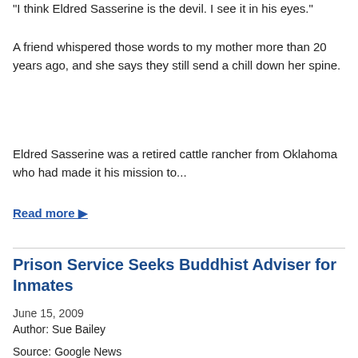"I think Eldred Sasserine is the devil. I see it in his eyes."
A friend whispered those words to my mother more than 20 years ago, and she says they still send a chill down her spine.
Eldred Sasserine was a retired cattle rancher from Oklahoma who had made it his mission to...
Read more ▶
Prison Service Seeks Buddhist Adviser for Inmates
June 15, 2009
Author: Sue Bailey
Source: Google News